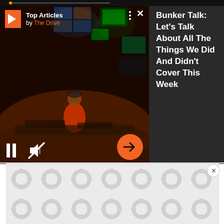[Figure (screenshot): A video player widget showing a broadcast control room scene with a person in red shirt standing at monitors. Controls include pause button, mute icon (crossed out speaker), orange circular arrow/next button. Header shows Top Articles by The Drive logo with three-dot menu and X close button.]
Bunker Talk: Let's Talk About All The Things We Did And Didn't Cover This Week
[Figure (screenshot): Advertisement banner placeholder with spinner/loading pattern in grey and white]